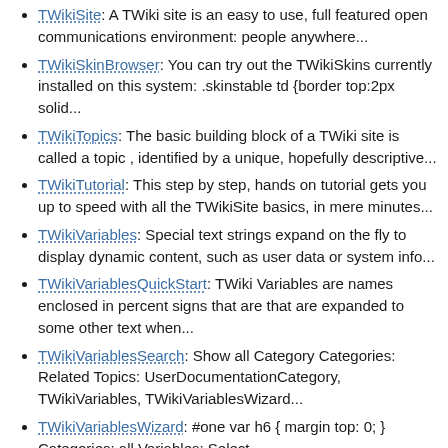TWikiSite: A TWiki site is an easy to use, full featured open communications environment: people anywhere...
TWikiSkinBrowser: You can try out the TWikiSkins currently installed on this system: .skinstable td {border top:2px solid...
TWikiTopics: The basic building block of a TWiki site is called a topic , identified by a unique, hopefully descriptive...
TWikiTutorial: This step by step, hands on tutorial gets you up to speed with all the TWikiSite basics, in mere minutes...
TWikiVariables: Special text strings expand on the fly to display dynamic content, such as user data or system info...
TWikiVariablesQuickStart: TWiki Variables are names enclosed in percent signs that are that are expanded to some other text when...
TWikiVariablesSearch: Show all Category Categories: Related Topics: UserDocumentationCategory, TWikiVariables, TWikiVariablesWizard...
TWikiVariablesWizard: #one var h6 { margin top: 0; } Categories: all Variables: Select...